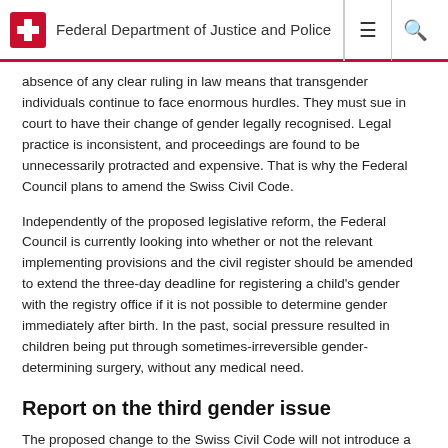Federal Department of Justice and Police
absence of any clear ruling in law means that transgender individuals continue to face enormous hurdles. They must sue in court to have their change of gender legally recognised. Legal practice is inconsistent, and proceedings are found to be unnecessarily protracted and expensive. That is why the Federal Council plans to amend the Swiss Civil Code.
Independently of the proposed legislative reform, the Federal Council is currently looking into whether or not the relevant implementing provisions and the civil register should be amended to extend the three-day deadline for registering a child's gender with the registry office if it is not possible to determine gender immediately after birth. In the past, social pressure resulted in children being put through sometimes-irreversible gender-determining surgery, without any medical need.
Report on the third gender issue
The proposed change to the Swiss Civil Code will not introduce a third gender. The Federal Council nonetheless firmly believes that